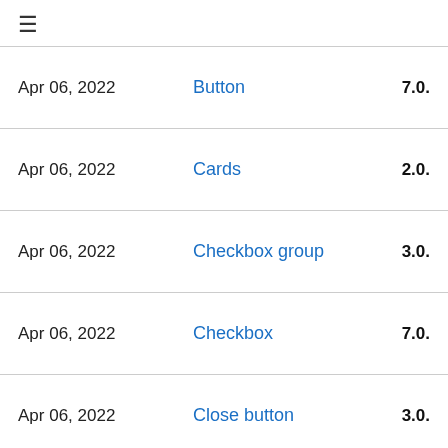≡
| Date | Name | Version |
| --- | --- | --- |
| Apr 06, 2022 | Button | 7.0. |
| Apr 06, 2022 | Cards | 2.0. |
| Apr 06, 2022 | Checkbox group | 3.0. |
| Apr 06, 2022 | Checkbox | 7.0. |
| Apr 06, 2022 | Close button | 3.0. |